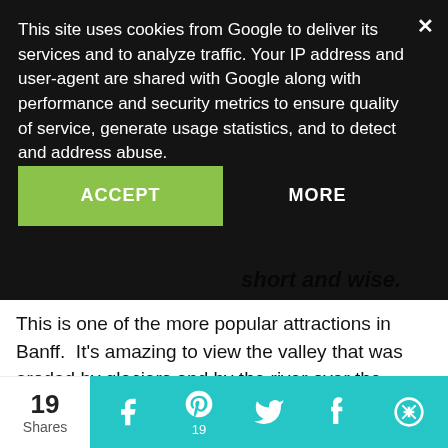This site uses cookies from Google to deliver its services and to analyze traffic. Your IP address and user-agent are shared with Google along with performance and security metrics to ensure quality of service, generate usage statistics, and to detect and address abuse.
ACCEPT
MORE
short and wise.
This is one of the more popular attractions in Banff.  It's amazing to view the valley that was eroded by glaciers and by the river over the years.
There is also a trail you can access by climbing a few flight of stairs. It wraps
19 Shares